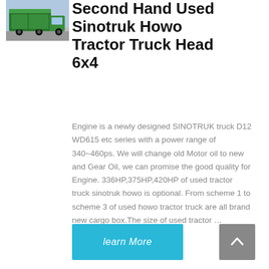[Figure (photo): Photo of a green Sinotruk Howo tractor truck]
Second Hand Used Sinotruk Howo Tractor Truck Head 6x4
Engine is a newly designed SINOTRUK truck D12 WD615 etc series with a power range of 340~460ps. We will change old Motor oil to new and Gear Oil, we can promise the good quality for Engine. 336HP,375HP,420HP of used tractor truck sinotruk howo is optional. From scheme 1 to scheme 3 of used howo tractor truck are all brand new cargo box.The size of used tractor …
learn More
[Figure (other): Scroll-to-top arrow button]